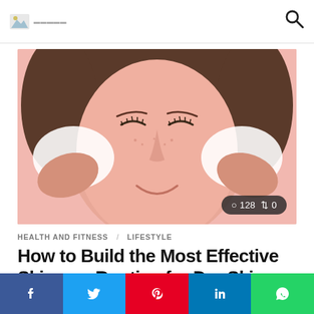Logo | Search
[Figure (photo): Woman smiling with eyes closed, applying white foam/cleanser to her face with both hands against a pink background. Stats badge shows eye icon 128 and share icon 0.]
HEALTH AND FITNESS   LIFESTYLE
How to Build the Most Effective Skincare Routine for Dry Skin